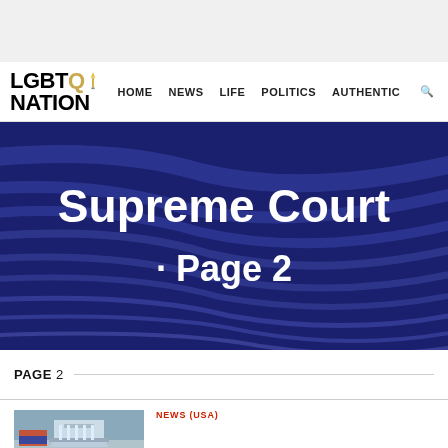[Figure (screenshot): Top gray banner area]
LGBTQ NATION  HOME  NEWS  LIFE  POLITICS  AUTHENTIC
Supreme Court · Page 2
PAGE 2
NEWS (USA)